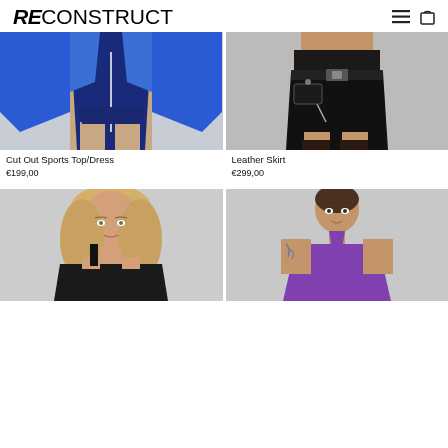RE construct
[Figure (photo): Model wearing blue cut out sports top/dress, blue athletic ensemble with zip details, grey background]
Cut Out Sports Top/Dress
€199,00
[Figure (photo): Model wearing black leather skirt with belt and zipper details, grey background]
Leather Skirt
€299,00
[Figure (photo): Model with blonde curly hair wearing black top, light grey background]
[Figure (photo): Model wearing purple halter neck dress with tattoos visible, grey background]